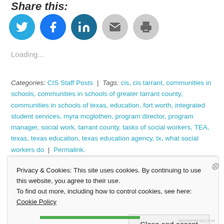Share this:
[Figure (other): Social share icon buttons: Twitter (blue circle), Facebook (blue circle), LinkedIn (teal circle), Email (grey circle), Print (grey circle)]
Loading...
Categories: CIS Staff Posts | Tags: cis, cis tarrant, communities in schools, communities in schools of greater tarrant county, communities in schools of texas, education, fort worth, integrated student services, myra mcglothen, program director, program manager, social work, tarrant county, tasks of social workers, TEA, texas, texas education, texas education agency, tx, what social workers do | Permalink.
Privacy & Cookies: This site uses cookies. By continuing to use this website, you agree to their use.
To find out more, including how to control cookies, see here: Cookie Policy
Close and accept